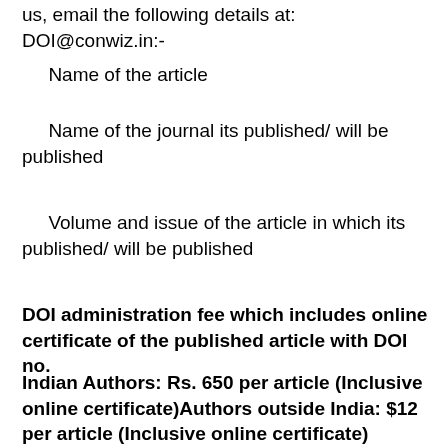us, email the following details at: DOI@conwiz.in:-
Name of the article
Name of the journal its published/ will be published
Volume and issue of the article in which its published/ will be published
DOI administration fee which includes online certificate of the published article with DOI no.
Indian Authors: Rs. 650 per article (Inclusive online certificate)Authors outside India: $12 per article (Inclusive online certificate)